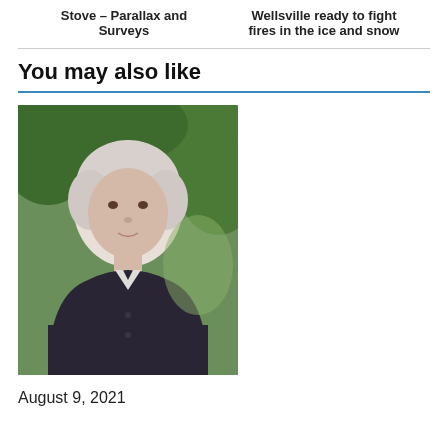Stove – Parallax and Surveys
Wellsville ready to fight fires in the ice and snow
You may also like
[Figure (photo): Portrait photo of an elderly woman with white hair wearing a dark cardigan and white top, photographed outdoors with green foliage in background.]
August 9, 2021